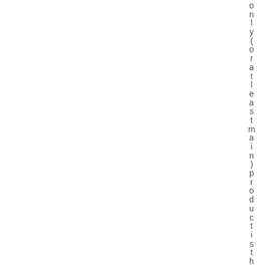only (or at least main) productiS th